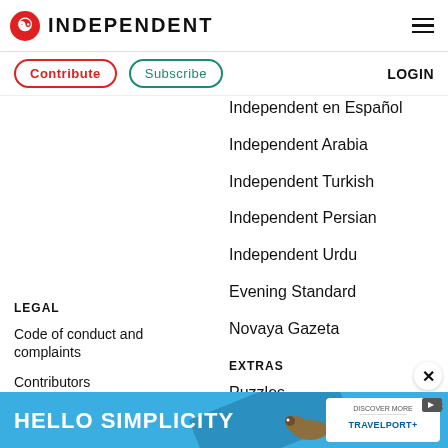INDEPENDENT
Contribute
Subscribe
LOGIN
Independent en Español
Independent Arabia
Independent Turkish
Independent Persian
Independent Urdu
Evening Standard
Novaya Gazeta
LEGAL
EXTRAS
Code of conduct and complaints
Puzzles
Contributors
All topics
[Figure (infographic): Advertisement banner: HELLO SIMPLICITY with bird and TRAVELPORT+ DISCOVER MORE button]